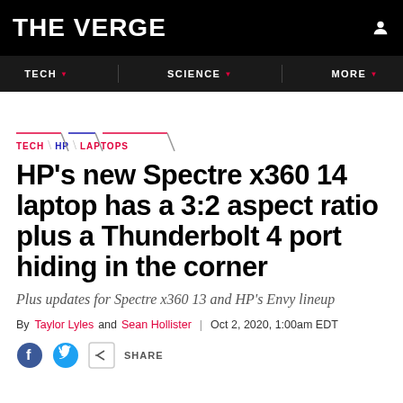THE VERGE
TECH | SCIENCE | MORE
TECH \ HP \ LAPTOPS
HP’s new Spectre x360 14 laptop has a 3:2 aspect ratio plus a Thunderbolt 4 port hiding in the corner
Plus updates for Spectre x360 13 and HP’s Envy lineup
By Taylor Lyles and Sean Hollister | Oct 2, 2020, 1:00am EDT